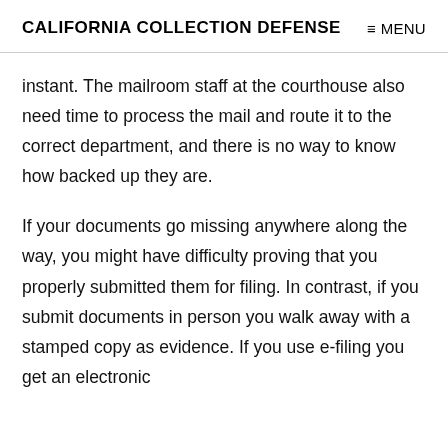CALIFORNIA COLLECTION DEFENSE    ≡ MENU
instant. The mailroom staff at the courthouse also need time to process the mail and route it to the correct department, and there is no way to know how backed up they are.
If your documents go missing anywhere along the way, you might have difficulty proving that you properly submitted them for filing. In contrast, if you submit documents in person you walk away with a stamped copy as evidence. If you use e-filing you get an electronic